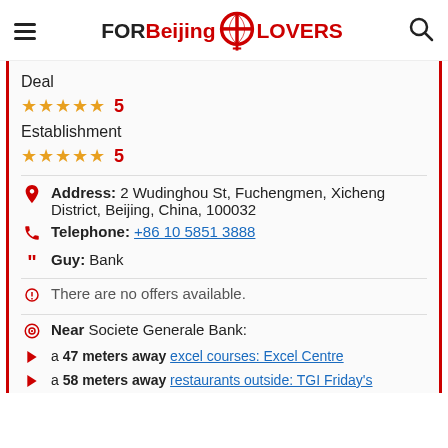FOR Beijing LOVERS (logo with map pin icon and search icon)
Deal ★★★★★ 5
Establishment ★★★★★ 5
Address: 2 Wudinghou St, Fuchengmen, Xicheng District, Beijing, China, 100032
Telephone: +86 10 5851 3888
Guy: Bank
There are no offers available.
Near Societe Generale Bank:
a 47 meters away excel courses: Excel Centre
a 58 meters away restaurants outside: TGI Friday's